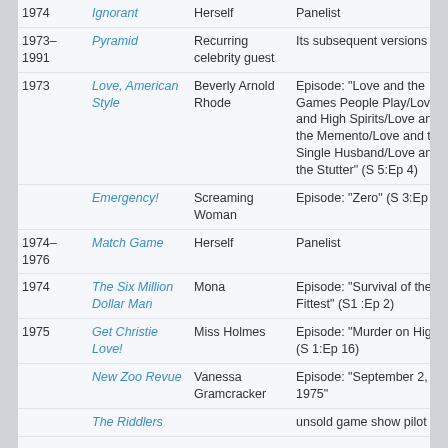| Year | Show | Role | Notes |
| --- | --- | --- | --- |
| 1974 | Ignorant | Herself | Panelist |
| 1973–1991 | Pyramid | Recurring celebrity guest | Its subsequent versions |
| 1973 | Love, American Style | Beverly Arnold Rhode | Episode: "Love and the Games People Play/Love and High Spirits/Love and the Memento/Love and the Single Husband/Love and the Stutter" (S 5:Ep 4) |
|  | Emergency! | Screaming Woman | Episode: "Zero" (S 3:Ep 10) |
| 1974–1976 | Match Game | Herself | Panelist |
| 1974 | The Six Million Dollar Man | Mona | Episode: "Survival of the Fittest" (S1 :Ep 2) |
| 1975 | Get Christie Love! | Miss Holmes | Episode: "Murder on High C" (S 1:Ep 16) |
| 1975 | New Zoo Revue | Vanessa Gramcracker | Episode: "September 2, 1975" |
|  | The Riddlers |  | unsold game show pilot |